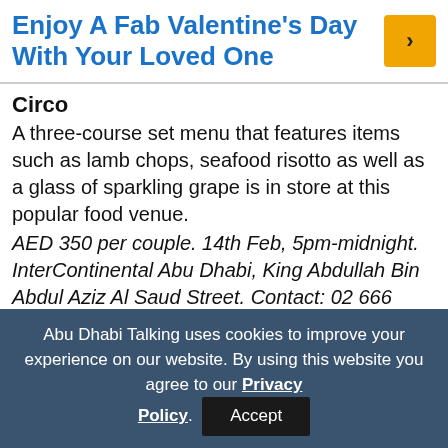Enjoy A Fab Valentine's Day With Your Loved One
Circo
A three-course set menu that features items such as lamb chops, seafood risotto as well as a glass of sparkling grape is in store at this popular food venue.
AED 350 per couple. 14th Feb, 5pm-midnight. InterContinental Abu Dhabi, King Abdullah Bin Abdul Aziz Al Saud Street. Contact: 02 666 6888
Grills@Chill'O
A three-course meal will be served to couples
Abu Dhabi Talking uses cookies to improve your experience on our website. By using this website you agree to our Privacy Policy.